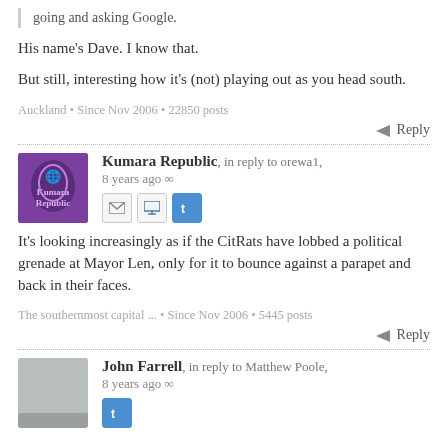going and asking Google.
His name's Dave. I know that.
But still, interesting how it's (not) playing out as you head south.
Auckland • Since Nov 2006 • 22850 posts
Reply
Kumara Republic, in reply to orewa1, 8 years ago
It's looking increasingly as if the CitRats have lobbed a political grenade at Mayor Len, only for it to bounce against a parapet and back in their faces.
The southernmost capital ... • Since Nov 2006 • 5445 posts
Reply
John Farrell, in reply to Matthew Poole, 8 years ago